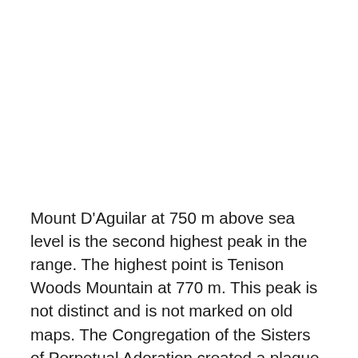Mount D'Aguilar at 750 m above sea level is the second highest peak in the range. The highest point is Tenison Woods Mountain at 770 m. This peak is not distinct and is not marked on old maps. The Congregation of the Sisters of Perpetual Adoration created a plaque on the summit to commemorate the naming of the mountain in 1974. The year also marked the centenary of their order which was founded by J.E. Tenison Woods. Mermaid Mountain is the highest point in the southern sections at 396 m in